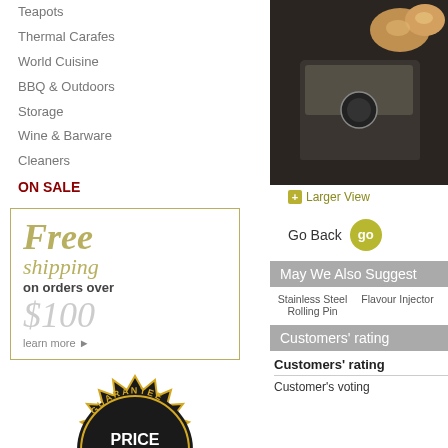Teapots
Thermal Carafes
World Cuisine
BBQ & Outdoors
Storage
Wine & Barware
Cleaners
ON SALE
[Figure (infographic): Free shipping on orders over $100, learn more — promotional banner in olive/gold border]
[Figure (illustration): Price Match Guarantee badge — circular black and gold seal with star decorations]
[Figure (illustration): Verified badge — partial gold seal visible at bottom]
[Figure (photo): Espresso machine product photo showing black machine with two coffee cups]
+ Larger View
Go Back go
May We Also Suggest
Stainless Steel Rolling Pin
Flavour Injector
Customers' rating
Customers' rating
Customer's voting